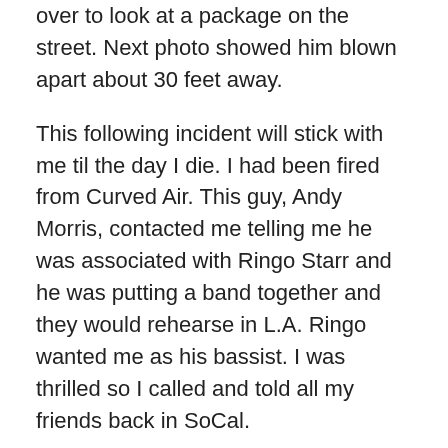over to look at a package on the street. Next photo showed him blown apart about 30 feet away.
This following incident will stick with me til the day I die. I had been fired from Curved Air. This guy, Andy Morris, contacted me telling me he was associated with Ringo Starr and he was putting a band together and they would rehearse in L.A. Ringo wanted me as his bassist. I was thrilled so I called and told all my friends back in SoCal.
The guy's name was very familiar. But I just couldn't place it.
Our first meeting was to take place at the London Hilton lobby at 1pm on a Monday. We met, had coffee and discussed details. He even asked me to join him as he had an appointment with his lawyer. I thought I'd be invited in on the discussion. Instead, I sat in the lobby cooling my